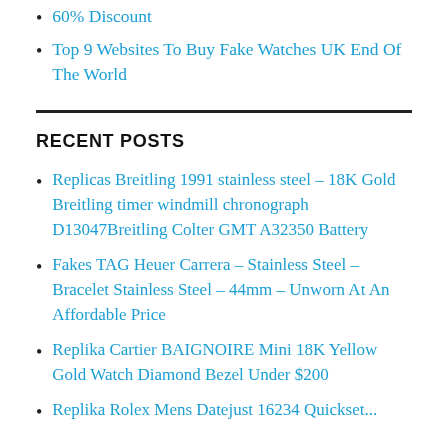60% Discount
Top 9 Websites To Buy Fake Watches UK End Of The World
RECENT POSTS
Replicas Breitling 1991 stainless steel – 18K Gold Breitling timer windmill chronograph D13047Breitling Colter GMT A32350 Battery
Fakes TAG Heuer Carrera – Stainless Steel – Bracelet Stainless Steel – 44mm – Unworn At An Affordable Price
Replika Cartier BAIGNOIRE Mini 18K Yellow Gold Watch Diamond Bezel Under $200
Replika Rolex Mens Datejust 16234 Quickset...